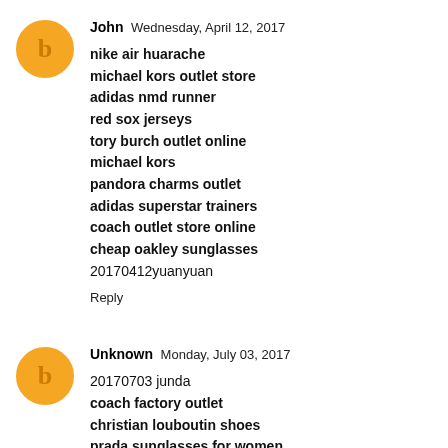John  Wednesday, April 12, 2017
nike air huarache
michael kors outlet store
adidas nmd runner
red sox jerseys
tory burch outlet online
michael kors
pandora charms outlet
adidas superstar trainers
coach outlet store online
cheap oakley sunglasses
20170412yuanyuan
Reply
Unknown  Monday, July 03, 2017
20170703 junda
coach factory outlet
christian louboutin shoes
prada sunglasses for women
michael kors outlet online